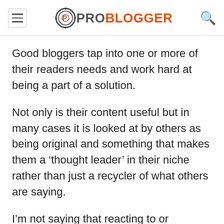PROBLOGGER
Good bloggers tap into one or more of their readers needs and work hard at being a part of a solution.
Not only is their content useful but in many cases it is looked at by others as being original and something that makes them a ‘thought leader’ in their niche rather than just a recycler of what others are saying.
I’m not saying that reacting to or recycling what others say and write is always bad or